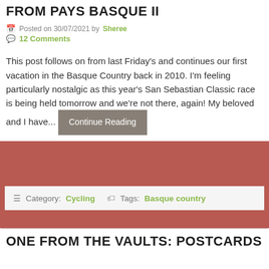FROM PAYS BASQUE II
Posted on 30/07/2021 by Sheree
12 Comments
This post follows on from last Friday's and continues our first vacation in the Basque Country back in 2010. I'm feeling particularly nostalgic as this year's San Sebastian Classic race is being held tomorrow and we're not there, again! My beloved and I have... Continue Reading
Category: Cycling   Tags: Basque country
ONE FROM THE VAULTS: POSTCARDS